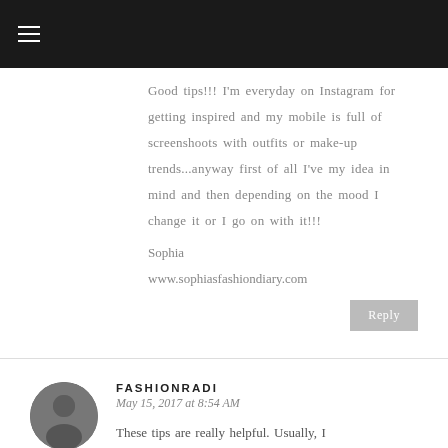Good tips!!! I'm everyday on Instagram for getting inspired and my mobile is full of screenshoots with outfits or make-up trends...anyway first of all I've my idea in mind and then depending on the mood I change it or I go on with it!!!
Sophia
www.sophiasfashiondiary.com
Reply
FASHIONRADI
May 15, 2017 at 8:54 AM
These tips are really helpful. Usually, I